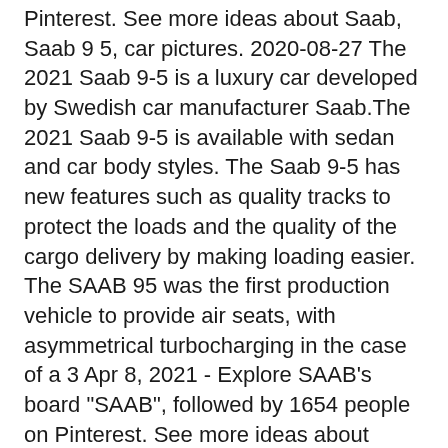Pinterest. See more ideas about Saab, Saab 9 5, car pictures. 2020-08-27 The 2021 Saab 9-5 is a luxury car developed by Swedish car manufacturer Saab.The 2021 Saab 9-5 is available with sedan and car body styles. The Saab 9-5 has new features such as quality tracks to protect the loads and the quality of the cargo delivery by making loading easier. The SAAB 95 was the first production vehicle to provide air seats, with asymmetrical turbocharging in the case of a 3 Apr 8, 2021 - Explore SAAB's board "SAAB", followed by 1654 people on Pinterest. See more ideas about saab, saab 9 3, saab 900.
Nyt myynnissä Saab 9-3 LEIMAA 11/2021 ASTI, 420 000 km, 2000 - Ähtäri. Klikkaa tästä kuvat ja lisätiedot vaihtoautosta. 2021-04-23 · Saab 9-3 x YVR 2.0T | Brand Mi Viimei 2011 · Kuvabi Brin 23...